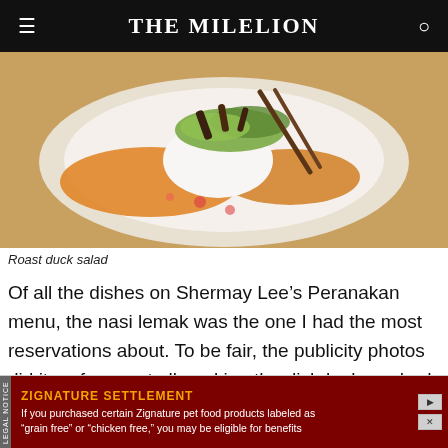THE MILELION
[Figure (photo): Close-up photo of a roast duck salad dish on a white plate, with orange sauce, shredded greens, and dark meat on top.]
Roast duck salad
Of all the dishes on Shermay Lee’s Peranakan menu, the nasi lemak was the one I had the most reservations about. To be fair, the publicity photos did it no favors at all, making the dish look washed out and unsubstantial.
ZIGNATURE SETTLEMENT
If you purchased certain Zignature pet food products labeled as “grain free” or “chicken free,” you may be eligible for benefits